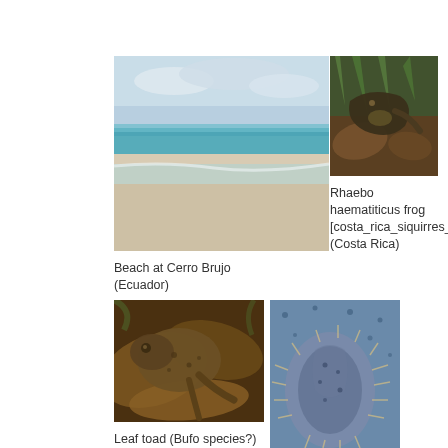[Figure (photo): Beach at Cerro Brujo, Ecuador — wide beach with turquoise-blue water and cloudy sky]
Beach at Cerro Brujo (Ecuador)
[Figure (photo): Rhaebo haematiticus frog photographed in Costa Rica (costa_rica_siquirres_1046), close-up among grass and leaf litter]
Rhaebo haematiticus frog [costa_rica_siquirres_1046] (Costa Rica)
[Figure (photo): Leaf toad (Bufo species?) from Suriname, camouflaged among brown leaves]
Leaf toad (Bufo species?) (Suriname)
[Figure (photo): Dorsal view of a toad or frog species, blue-grey coloration with dots and fringe, partially visible]